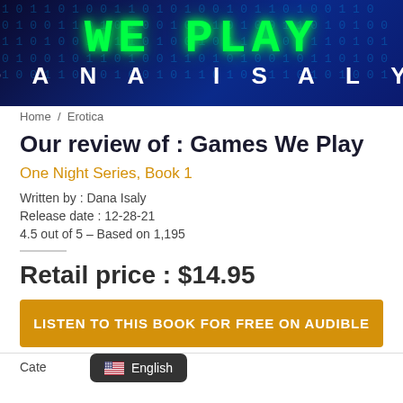[Figure (illustration): Book cover banner for 'Games We Play' by Dana Isaly. Green glowing text 'WE PLAY' over a dark blue digital/matrix background, with white text 'DANA ISALY' below.]
Home / Erotica
Our review of : Games We Play
One Night Series, Book 1
Written by : Dana Isaly
Release date : 12-28-21
4.5 out of 5 – Based on 1,195
Retail price : $14.95
LISTEN TO THIS BOOK FOR FREE ON AUDIBLE
Cate
🇺🇸 English